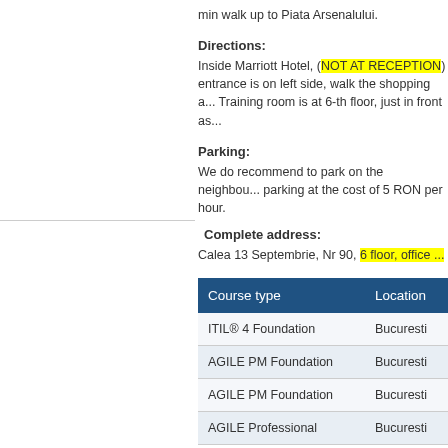min walk up to Piata Arsenalului.
Directions:
Inside Marriott Hotel, (NOT AT RECEPTION) entrance is on left side, walk the shopping a... Training room is at 6-th floor, just in front as...
Parking:
We do recommend to park on the neighbou... parking at the cost of 5 RON per hour.
Complete address:
Calea 13 Septembrie, Nr 90, 6 floor, office ...
| Course type | Location |
| --- | --- |
| ITIL® 4 Foundation | Bucuresti |
| AGILE PM Foundation | Bucuresti |
| AGILE PM Foundation | Bucuresti |
| AGILE Professional | Bucuresti |